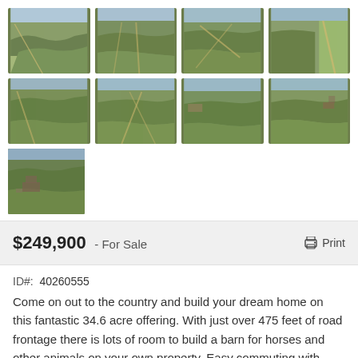[Figure (photo): Grid of 9 aerial drone photos showing a 34.6 acre rural property with forest, fields, and road frontage. Photos arranged in 3 rows: 4 in first row, 4 in second row, 1 in third row.]
$249,900 - For Sale   Print
ID#:  40260555
Come on out to the country and build your dream home on this fantastic 34.6 acre offering. With just over 475 feet of road frontage there is lots of room to build a barn for horses and other animals on your own property. Easy commuting with approx. 10 minutes to the 401. Property